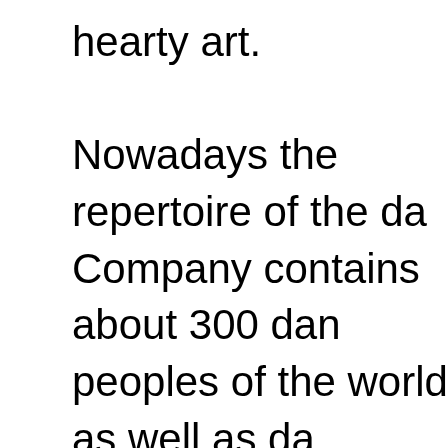hearty art. Nowadays the repertoire of the da Company contains about 300 dan peoples of the world as well as da choreographic picture, miniatures, one-act ballets such as the "Polov dances" (music – A. Borodin), "A N Bald Mountain"(music – M. Musor the Skating Ring" (music b Stra